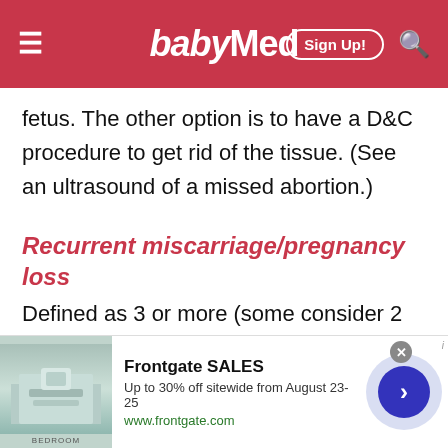babyMed — Sign Up!
fetus. The other option is to have a D&C procedure to get rid of the tissue. (See an ultrasound of a missed abortion.)
Recurrent miscarriage/pregnancy loss
Defined as 3 or more (some consider 2 or more) consecutive first trimester miscarriages. This can affect 1% of couples trying to conceive. Recurrent pregnancy loss (RPL), habitual or recurrent abortions or miscarriages are diagnosed when
[Figure (screenshot): Advertisement banner for Frontgate SALES with bedroom image, text 'Up to 30% off sitewide from August 23-25', URL www.frontgate.com, and a blue arrow button]